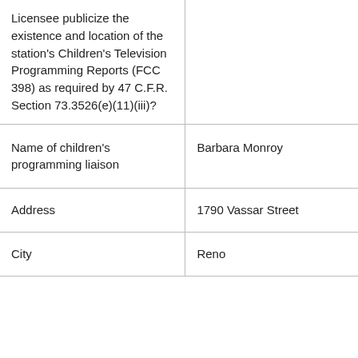| Licensee publicize the existence and location of the station's Children's Television Programming Reports (FCC 398) as required by 47 C.F.R. Section 73.3526(e)(11)(iii)? |  |
| Name of children's programming liaison | Barbara Monroy |
| Address | 1790 Vassar Street |
| City | Reno |